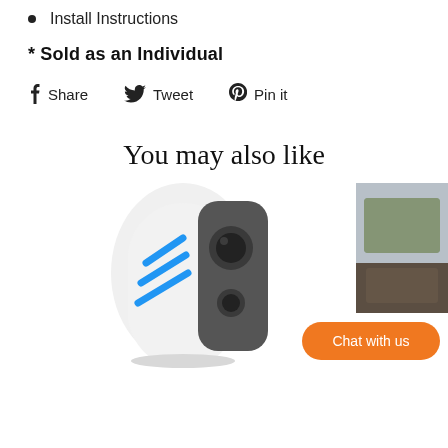Install Instructions
* Sold as an Individual
f Share   Tweet   Pin it
You may also like
[Figure (photo): Security camera product photo - white and grey camera with blue logo marks]
[Figure (photo): Partial view of another product image on the right side]
Chat with us